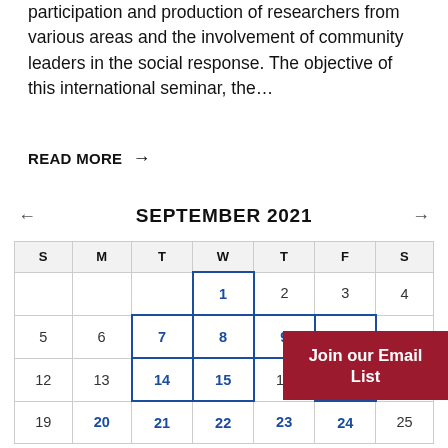participation and production of researchers from various areas and the involvement of community leaders in the social response. The objective of this international seminar, the…
READ MORE →
SEPTEMBER 2021
| S | M | T | W | T | F | S |
| --- | --- | --- | --- | --- | --- | --- |
|  |  |  | 1 | 2 | 3 | 4 |
| 5 | 6 | 7 | 8 | 9 | 10 |  |
| 12 | 13 | 14 | 15 | 16 | 17 |  |
| 19 | 20 | 21 | 22 | 23 | 24 | 25 |
Join our Email List